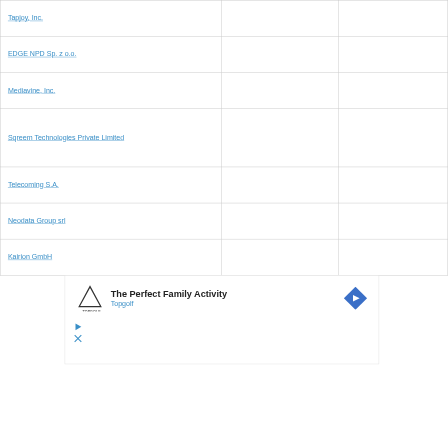| Tapjoy, Inc. |  |  |
| EDGE NPD Sp. z o.o. |  |  |
| Mediavine, Inc. |  |  |
| Sqreem Technologies Private Limited |  |  |
| Telecoming S.A. |  |  |
| Neodata Group srl |  |  |
| Kairion GmbH |  |  |
[Figure (screenshot): Advertisement banner for Topgolf: 'The Perfect Family Activity' with Topgolf logo and navigation arrow icon]